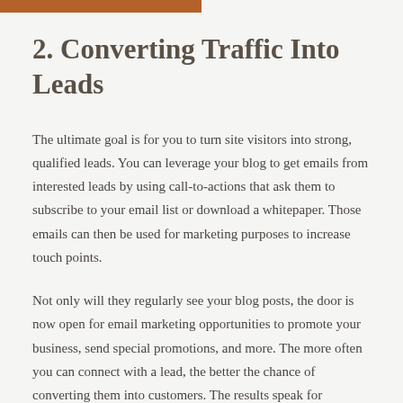2. Converting Traffic Into Leads
The ultimate goal is for you to turn site visitors into strong, qualified leads. You can leverage your blog to get emails from interested leads by using call-to-actions that ask them to subscribe to your email list or download a whitepaper. Those emails can then be used for marketing purposes to increase touch points.
Not only will they regularly see your blog posts, the door is now open for email marketing opportunities to promote your business, send special promotions, and more. The more often you can connect with a lead, the better the chance of converting them into customers. The results speak for themselves. B2B companies with blogs